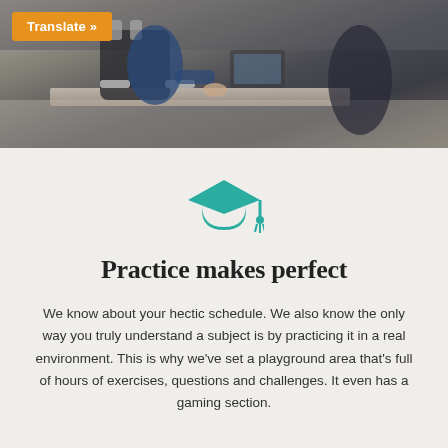[Figure (photo): Photo of people sitting at desks/chairs in an office or classroom environment, slightly blurred]
Translate »
[Figure (illustration): Teal graduation cap icon]
Practice makes perfect
We know about your hectic schedule. We also know the only way you truly understand a subject is by practicing it in a real environment. This is why we've set a playground area that's full of hours of exercises, questions and challenges. It even has a gaming section.